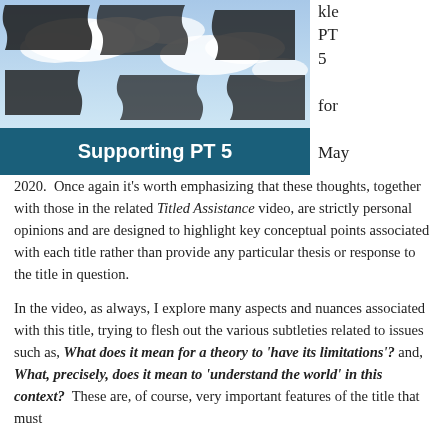[Figure (photo): Puzzle pieces against a blue sky with clouds, with a dark teal banner overlay reading 'Supporting PT 5']
kle PT 5 for May
2020.  Once again it’s worth emphasizing that these thoughts, together with those in the related Titled Assistance video, are strictly personal opinions and are designed to highlight key conceptual points associated with each title rather than provide any particular thesis or response to the title in question.
In the video, as always, I explore many aspects and nuances associated with this title, trying to flesh out the various subtleties related to issues such as, What does it mean for a theory to ‘have its limitations’? and, What, precisely, does it mean to ‘understand the world’ in this context?  These are, of course, very important features of the title that must